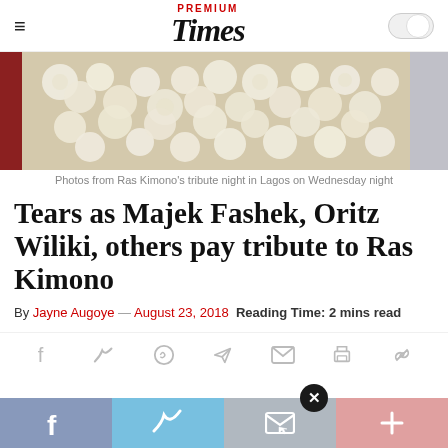PREMIUM Times
[Figure (photo): Flowers arrangement photo from Ras Kimono's tribute night in Lagos]
Photos from Ras Kimono's tribute night in Lagos on Wednesday night
Tears as Majek Fashek, Oritz Wiliki, others pay tribute to Ras Kimono
By Jayne Augoye — August 23, 2018  Reading Time: 2 mins read